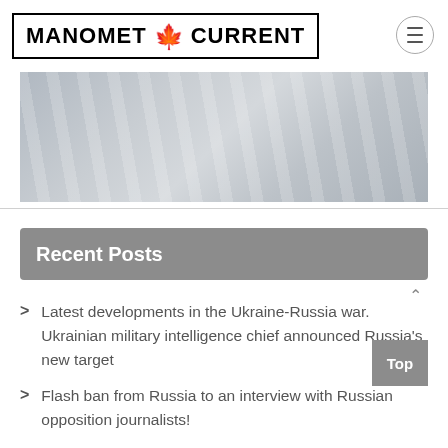MANOMET CURRENT
[Figure (photo): Blurred grey architectural/venetian blind style background image]
Recent Posts
Latest developments in the Ukraine-Russia war. Ukrainian military intelligence chief announced Russia's new target
Flash ban from Russia to an interview with Russian opposition journalists!